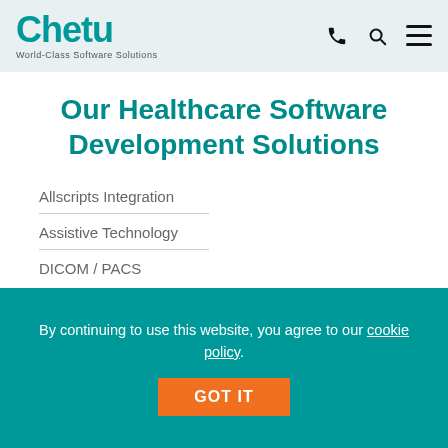[Figure (logo): Chetu logo with tagline 'World-Class Software Solutions']
Our Healthcare Software Development Solutions
Allscripts Integration
Assistive Technology
DICOM / PACS
By continuing to use this website, you agree to our cookie policy.
GOT IT